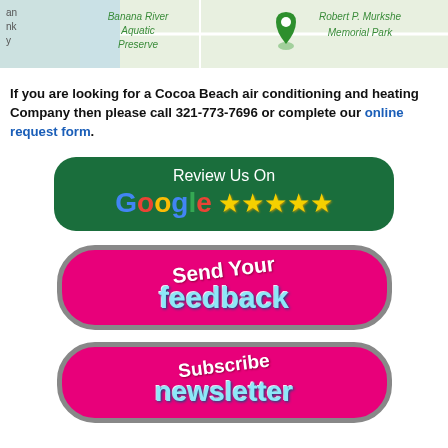[Figure (map): Google Maps snippet showing Banana River Aquatic Preserve and Robert P. Murkshe Memorial Park]
If you are looking for a Cocoa Beach air conditioning and heating Company then please call 321-773-7696 or complete our online request form.
[Figure (illustration): Review Us On Google button with five yellow stars on dark green rounded rectangle background]
[Figure (illustration): Send Your feedback button - pink rounded rectangle with stylized script and light blue text]
[Figure (illustration): Subscribe newsletter button - pink rounded rectangle with stylized script and light blue text]